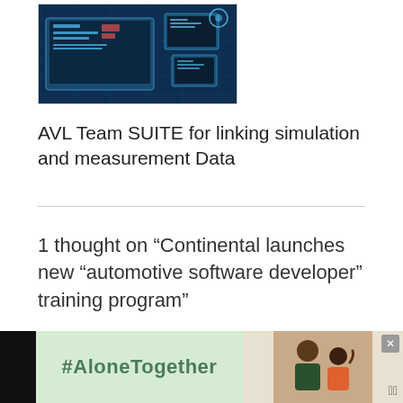[Figure (photo): Thumbnail image showing digital interface screens with data and simulation visuals on a blue tech background]
AVL Team SUITE for linking simulation and measurement Data
1 thought on “Continental launches new “automotive software developer” training program”
[Figure (photo): Advertisement banner with #AloneTogether hashtag on green background, a photo of two people, close button, and a logo]